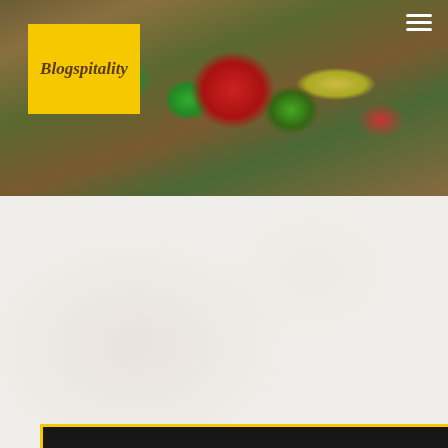[Figure (photo): Hero banner photo of food items including strawberries, green vegetables, and herbs arranged on a wooden surface]
[Figure (logo): Blogspitality logo - yellow square background with italic script text]
Home » Blogs
[Figure (screenshot): Video thumbnail for 'Let's drink a coffee' blog post showing a bald man with glasses in a kitchen setting, with Blogspitality logo overlay and author credit 'Wouter Verkerk']